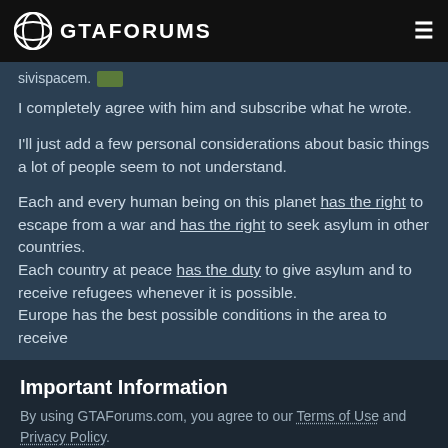GTAFORUMS
sivispacem.
I completely agree with him and subscribe what he wrote.

I'll just add a few personal considerations about basic things a lot of people seem to not understand.

Each and every human being on this planet has the right to escape from a war and has the right to seek asylum in other countries.
Each country at peace has the duty to give asylum and to receive refugees whenever it is possible.
Europe has the best possible conditions in the area to receive
Important Information
By using GTAForums.com, you agree to our Terms of Use and Privacy Policy.
✓  I accept